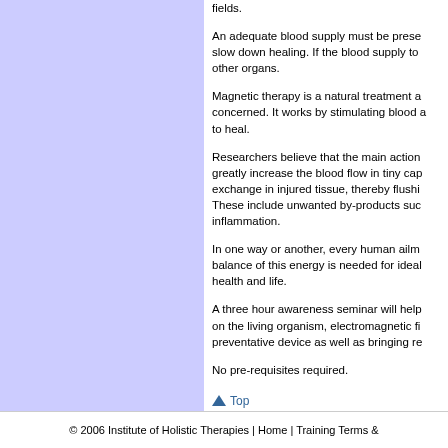fields.
An adequate blood supply must be present... slow down healing. If the blood supply to... other organs.
Magnetic therapy is a natural treatment a... concerned. It works by stimulating blood a... to heal.
Researchers believe that the main action... greatly increase the blood flow in tiny cap... exchange in injured tissue, thereby flushi... These include unwanted by-products suc... inflammation.
In one way or another, every human ailme... balance of this energy is needed for ideal... health and life.
A three hour awareness seminar will help... on the living organism, electromagnetic fi... preventative device as well as bringing re...
No pre-requisites required.
▲ Top
© 2006 Institute of Holistic Therapies | Home | Training Terms &